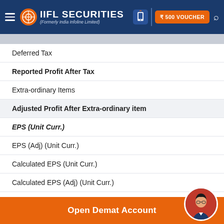IIFL Securities (Formerly India Infoline Limited)
Deferred Tax
Reported Profit After Tax
Extra-ordinary Items
Adjusted Profit After Extra-ordinary item
EPS (Unit Curr.)
EPS (Adj) (Unit Curr.)
Calculated EPS (Unit Curr.)
Calculated EPS (Adj) (Unit Curr.)
Calculated EPS (Ann.) (Unit Curr.)
Calculated EPS (Adj) (Ann.) (Unit Curr.)
Open Demat Account